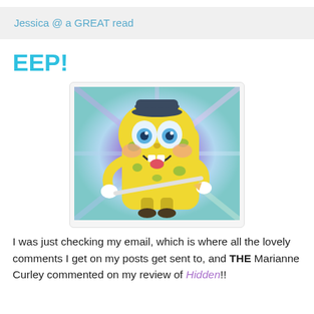Jessica @ a GREAT read
EEP!
[Figure (illustration): Excited SpongeBob SquarePants character with wide eyes, rosy cheeks, open mouth smiling, holding a pencil, against a colorful purple and blue swirling background.]
I was just checking my email, which is where all the lovely comments I get on my posts get sent to, and THE Marianne Curley commented on my review of Hidden!!